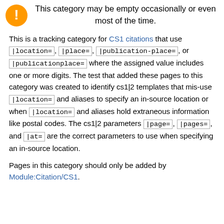category even if it is empty: This category may be empty occasionally or even most of the time.
This is a tracking category for CS1 citations that use |location=, |place=, |publication-place=, or |publicationplace= where the assigned value includes one or more digits. The test that added these pages to this category was created to identify cs1|2 templates that mis-use |location= and aliases to specify an in-source location or when |location= and aliases hold extraneous information like postal codes. The cs1|2 parameters |page=, |pages=, and |at= are the correct parameters to use when specifying an in-source location.
Pages in this category should only be added by Module:Citation/CS1.